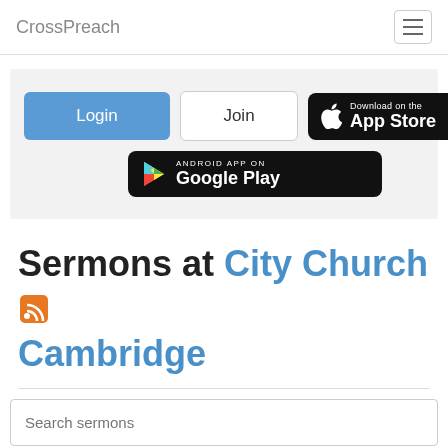CrossPreach
[Figure (screenshot): Login button, Join button, Download on the App Store button, and Android App on Google Play button on a light gray background]
Sermons at City Church Cambridge
Search sermons (search input field)
Search (button)